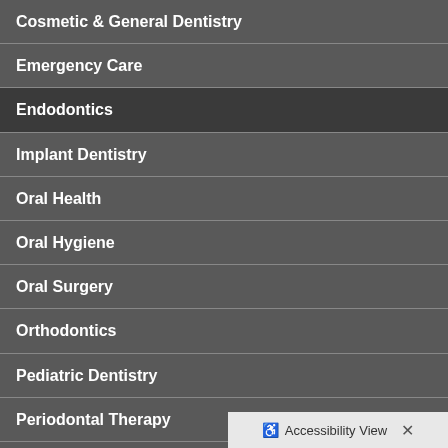Cosmetic & General Dentistry
Emergency Care
Endodontics
Implant Dentistry
Oral Health
Oral Hygiene
Oral Surgery
Orthodontics
Pediatric Dentistry
Periodontal Therapy
Technology
Accessibility View